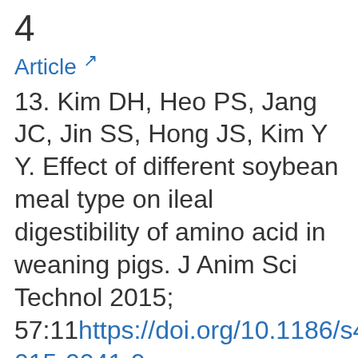4
Article ↗
13. Kim DH, Heo PS, Jang JC, Jin SS, Hong JS, Kim Y Y. Effect of different soybean meal type on ileal digestibility of amino acid in weaning pigs. J Anim Sci Technol 2015; 57:11 https://doi.org/10.1186/s40781-015-0041-9
Article ↗   PubMed ↗   PMC ↗